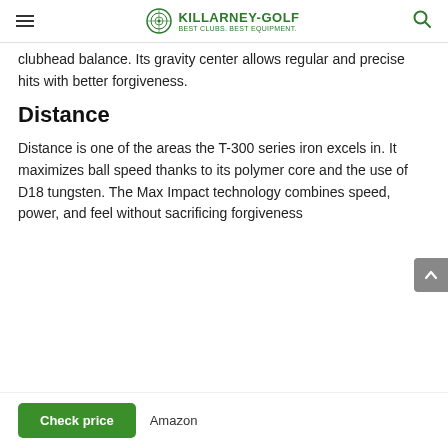KILLARNEY-GOLF BEST CLUBS. BEST EQUIPMENT.
clubhead balance. Its gravity center allows regular and precise hits with better forgiveness.
Distance
Distance is one of the areas the T-300 series iron excels in. It maximizes ball speed thanks to its polymer core and the use of D18 tungsten. The Max Impact technology combines speed, power, and feel without sacrificing forgiveness